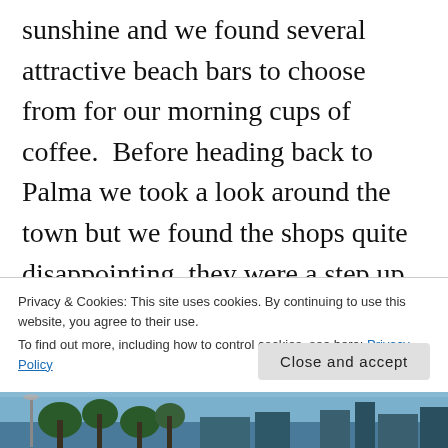sunshine and we found several attractive beach bars to choose from for our morning cups of coffee.  Before heading back to Palma we took a look around the town but we found the shops quite disappointing, they were a step up from those in Palma Nova and Magalluf but quite touristy compared to other resorts we'd visited earlier in the week.  Still, we were pleased with our visit as Santa Ponca is located in a beautiful setting.  We returned to Palma on the direct service (the same price as the
Privacy & Cookies: This site uses cookies. By continuing to use this website, you agree to their use.
To find out more, including how to control cookies, see here: Privacy Policy
Close and accept
[Figure (photo): Bottom strip showing trees and buildings against a blue sky]